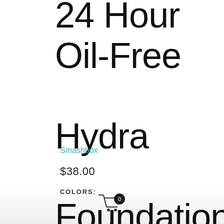24 Hour Oil-Free Hydra Foundation
Smashbox
$38.00
COLORS:
[Figure (illustration): Shopping cart icon with a black circle badge showing the number 0]